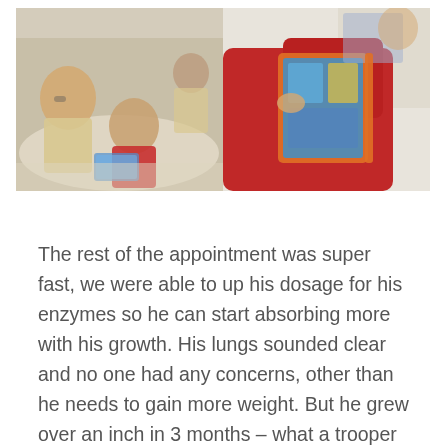[Figure (photo): Two photos side by side: left photo shows a woman with glasses leaning over a table interacting with a child in a red jacket; right photo shows a child in a red sweatshirt holding a book or puzzle box at a table.]
The rest of the appointment was super fast, we were able to up his dosage for his enzymes so he can start absorbing more with his growth. His lungs sounded clear and no one had any concerns, other than he needs to gain more weight. But he grew over an inch in 3 months – what a trooper for rocking through growing pains! It was such a laid back appointment that some of the therapists were playing cars and